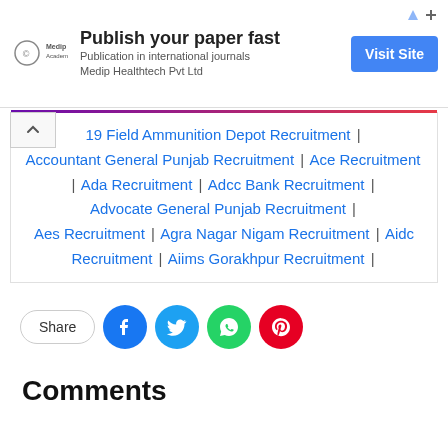[Figure (other): Advertisement banner: Medip Academy logo, 'Publish your paper fast', 'Publication in international journals Medip Healthtech Pvt Ltd', blue 'Visit Site' button]
19 Field Ammunition Depot Recruitment | Accountant General Punjab Recruitment | Ace Recruitment | Ada Recruitment | Adcc Bank Recruitment | Advocate General Punjab Recruitment | Aes Recruitment | Agra Nagar Nigam Recruitment | Aidc Recruitment | Aiims Gorakhpur Recruitment |
Share
Comments